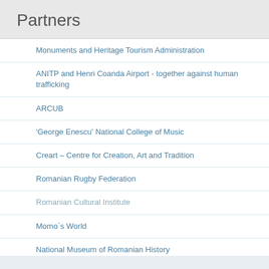Partners
Monuments and Heritage Tourism Administration
ANITP and Henri Coanda Airport - together against human trafficking
ARCUB
‘George Enescu’ National College of Music
Creart – Centre for Creation, Art and Tradition
Romanian Rugby Federation
Romanian Cultural Institute
Momo`s World
National Museum of Romanian History
THE Institute
“Eudoxiu Hurmuzachi” Institute for Romanians abroad